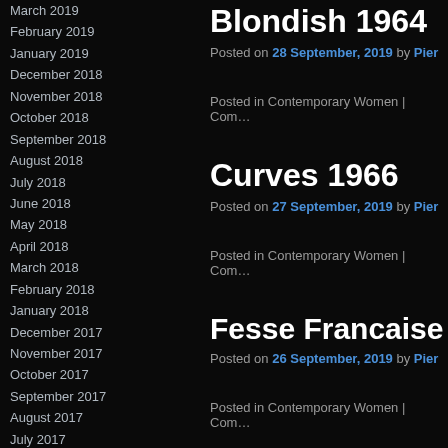March 2019
February 2019
January 2019
December 2018
November 2018
October 2018
September 2018
August 2018
July 2018
June 2018
May 2018
April 2018
March 2018
February 2018
January 2018
December 2017
November 2017
October 2017
September 2017
August 2017
July 2017
June 2017
May 2017
April 2017
March 2017
Blondish 1964
Posted on 28 September, 2019 by Pier…
Posted in Contemporary Women | Com…
Curves 1966
Posted on 27 September, 2019 by Pier…
Posted in Contemporary Women | Com…
Fesse Francaise…
Posted on 26 September, 2019 by Pier…
Posted in Contemporary Women | Com…